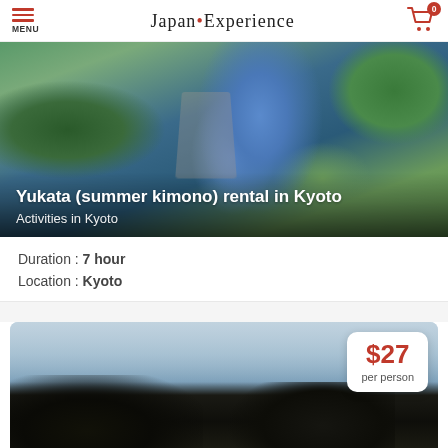Japan Experience — MENU — Cart (0)
[Figure (photo): Person wearing a blue yukata (summer kimono) walking along a path in Kyoto, viewed from behind, surrounded by greenery]
Yukata (summer kimono) rental in Kyoto
Activities in Kyoto
Duration : 7 hour
Location : Kyoto
[Figure (photo): Two eagles (Steller's sea eagles) facing each other with wings spread against a cloudy sky background, with a price box showing $27 per person]